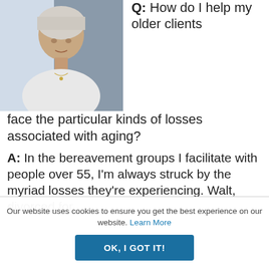[Figure (photo): Portrait photo of an older woman with short gray hair wearing a white top, looking slightly to the side.]
Q: How do I help my older clients face the particular kinds of losses associated with aging?
A: In the bereavement groups I facilitate with people over 55, I'm always struck by the myriad losses they're experiencing. Walt, divorced for
Our website uses cookies to ensure you get the best experience on our website. Learn More
OK, I GOT IT!